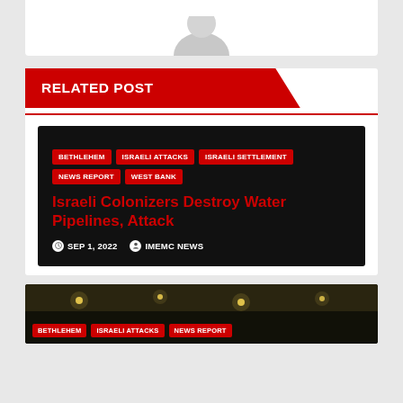[Figure (illustration): Partial avatar/profile image at top of page — grey circular user icon cropped at top]
RELATED POST
[Figure (photo): Dark background article card with tags and headline about Israeli Colonizers destroying water pipelines]
BETHLEHEM
ISRAELI ATTACKS
ISRAELI SETTLEMENT
NEWS REPORT
WEST BANK
Israeli Colonizers Destroy Water Pipelines, Attack
SEP 1, 2022   IMEMC NEWS
[Figure (photo): Night-time street photo with tags BETHLEHEM, ISRAELI ATTACKS, NEWS REPORT visible at bottom]